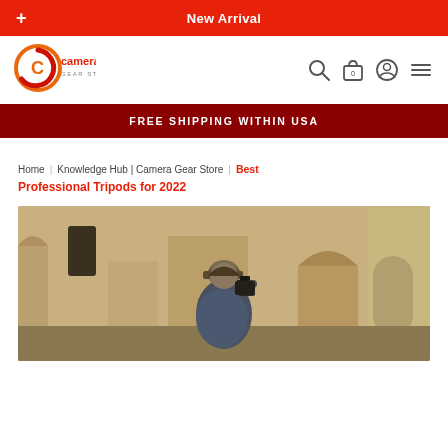+ New Arrival
[Figure (logo): Camera Gear Store logo - circular C icon with orange and red, text 'camera GEAR STORE']
FREE SHIPPING WITHIN USA
Home | Knowledge Hub | Camera Gear Store | Best Professional Tripods for 2022
Best Professional Tripods for 2022
[Figure (photo): Photographer wearing a cap shooting with a camera, stone building in background]